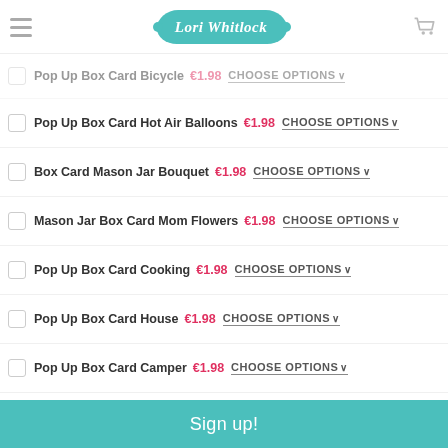Lori Whitlock
Pop Up Box Card Bicycle €1.98 CHOOSE OPTIONS
Pop Up Box Card Hot Air Balloons €1.98 CHOOSE OPTIONS
Box Card Mason Jar Bouquet €1.98 CHOOSE OPTIONS
Mason Jar Box Card Mom Flowers €1.98 CHOOSE OPTIONS
Pop Up Box Card Cooking €1.98 CHOOSE OPTIONS
Pop Up Box Card House €1.98 CHOOSE OPTIONS
Pop Up Box Card Camper €1.98 CHOOSE OPTIONS
Mason Jar Sunflower Box Card €1.98 CHOOSE OPTIONS
Mason Jar Pinwheel Box Card €1.98 CHOOSE OPTIONS
Sign up!